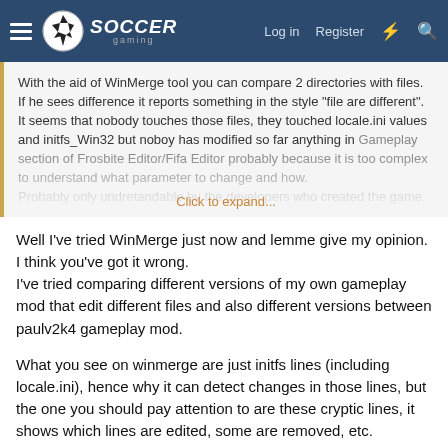Soccer Gaming — Log in  Register
With the aid of WinMerge tool you can compare 2 directories with files. If he sees difference it reports something in the style "file are different".
It seems that nobody touches those files, they touched locale.ini values and initfs_Win32 but noboy has modified so far anything in Gameplay section of Frosbite Editor/Fifa Editor probably because it is too complex to understand what parameter to change and how.
Probably only undretandable by the developers who created the game. Click to expand...
Well I've tried WinMerge just now and lemme give my opinion. I think you've got it wrong.
I've tried comparing different versions of my own gameplay mod that edit different files and also different versions between paulv2k4 gameplay mod.

What you see on winmerge are just initfs lines (including locale.ini), hence why it can detect changes in those lines, but the one you should pay attention to are these cryptic lines, it shows which lines are edited, some are removed, etc.